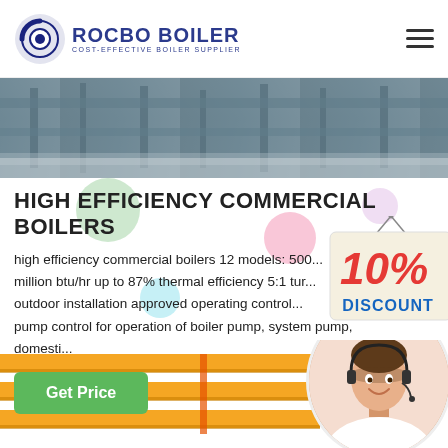ROCBO BOILER - COST-EFFECTIVE BOILER SUPPLIER
[Figure (photo): Interior industrial boiler room with equipment and piping visible from above]
HIGH EFFICIENCY COMMERCIAL BOILERS
high efficiency commercial boilers 12 models: 500... million btu/hr up to 87% thermal efficiency 5:1 tur... outdoor installation approved operating control... pump control for operation of boiler pump, system pump, domesti...
[Figure (illustration): 10% DISCOUNT badge/sign hanging]
[Figure (photo): Customer service agent woman with headset smiling]
[Figure (photo): Yellow industrial pipes/tubes in the lower section of the page]